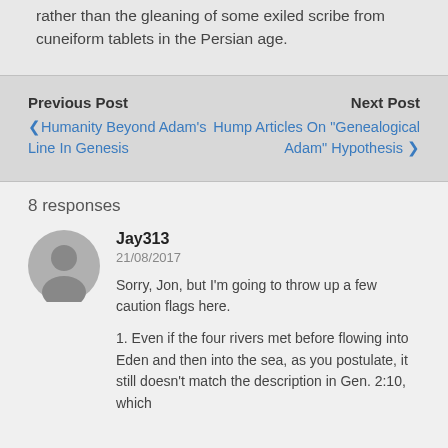rather than the gleaning of some exiled scribe from cuneiform tablets in the Persian age.
Previous Post
‹ Humanity Beyond Adam's Line In Genesis
Next Post
Hump Articles On "Genealogical Adam" Hypothesis ›
8 responses
Jay313
21/08/2017
Sorry, Jon, but I'm going to throw up a few caution flags here.
1. Even if the four rivers met before flowing into Eden and then into the sea, as you postulate, it still doesn't match the description in Gen. 2:10, which